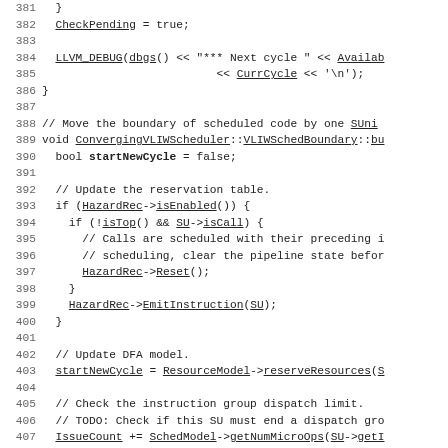[Figure (screenshot): Source code listing showing C++ code for a VLIW scheduler, lines 381-411, with monospace font and underlined identifiers.]